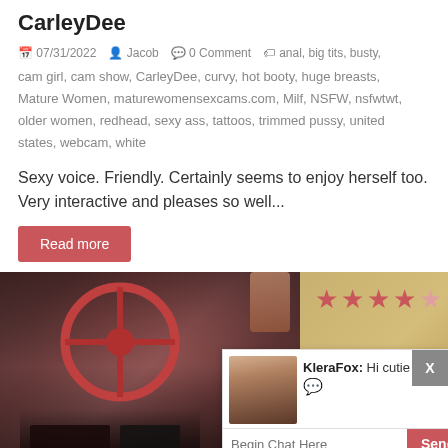CarleyDee
07/31/2022  Jacob  0 Comment  anal, big tits, busty, cam girl, cam show, CarleyDee, curvy, hot booty, huge breasts, Mature Women, maturewomensexcams.com, Milf, NSFW, nsfwtwt, older women, redhead, sexy ass, tattoos, trimmed pussy, united states, webcam, white
Sexy voice. Friendly. Certainly seems to enjoy herself too. Very interactive and pleases so well...
Read more
[Figure (photo): Photo of woman in car with steering wheel, partially visible. Chat popup with avatar of KleraFox saying 'Hi cutie ;)' with Begin Chat Here input and Send button. Star rating showing 4 out of 5 stars in top right.]